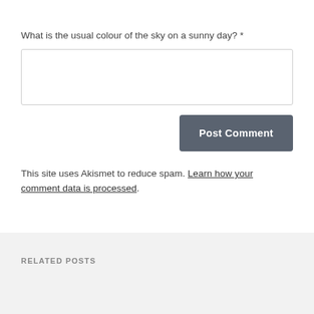What is the usual colour of the sky on a sunny day? *
Post Comment
This site uses Akismet to reduce spam. Learn how your comment data is processed.
RELATED POSTS